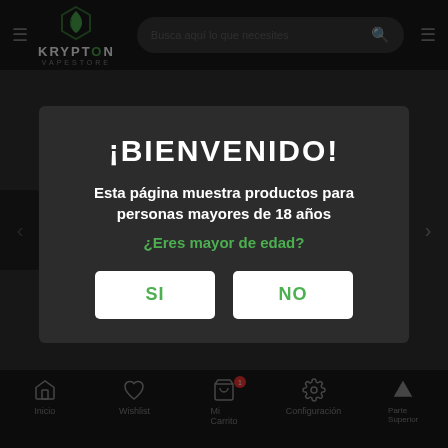[Figure (screenshot): Krypton Vapestore website navigation bar with logo, search bar, and hamburger menus]
[Figure (screenshot): Dimmed background slideshow area with slide arrows and faint text]
¡BIENVENIDO!
Esta página muestra productos para personas mayores de 18 años
¿Eres mayor de edad?
SI
NO
[Figure (screenshot): Bottom navigation bar with Inicio, Wishlist, Mi Carrito, Configuración, and Parte Superior icons]